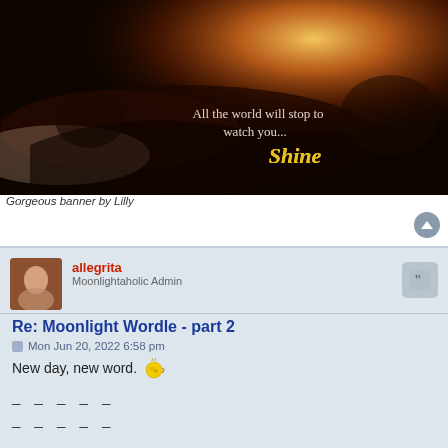[Figure (photo): Dark romantic banner image showing a person lying down with warm orange/amber light in the background. Text overlay reads: 'All the world will stop to watch you... Shine']
Gorgeous banner by Lilly
allegrita
Moonlightaholic Admin
Re: Moonlight Wordle - part 2
Mon Jun 20, 2022 6:58 pm
New day, new word.
_ _ _ _ _
_ _ _ _ _
_ _ _ _ _
_ _ _ _ _
_ _ _ _ _